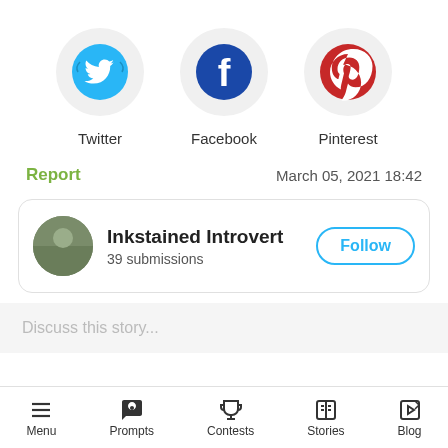[Figure (illustration): Three social media icons in circles: Twitter (light blue bird), Facebook (dark blue f), Pinterest (red p)]
Twitter
Facebook
Pinterest
Report
March 05, 2021 18:42
Inkstained Introvert
39 submissions
Follow
Discuss this story...
Menu  Prompts  Contests  Stories  Blog